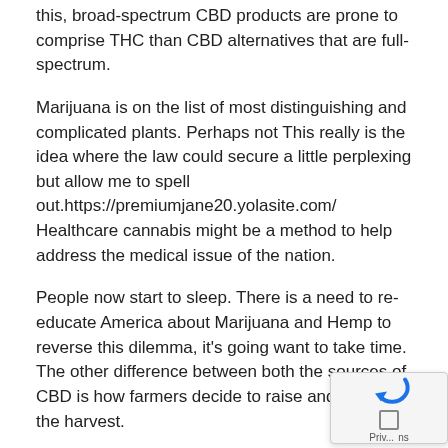this, broad-spectrum CBD products are prone to comprise THC than CBD alternatives that are full-spectrum.
Marijuana is on the list of most distinguishing and complicated plants. Perhaps not This really is the idea where the law could secure a little perplexing but allow me to spell out.https://premiumjane20.yolasite.com/ Healthcare cannabis might be a method to help address the medical issue of the nation.
People now start to sleep. There is a need to re-educate America about Marijuana and Hemp to reverse this dilemma, it's going want to take time. The other difference between both the sources of CBD is how farmers decide to raise and harvest the harvest.
Life, Death and Where Exactly Do C and Thc Come from in the Cannabis